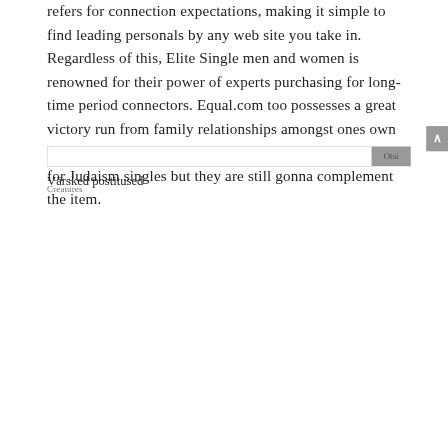refers for connection expectations, making it simple to find leading personals by any web site you take in. Regardless of this, Elite Single men and women is renowned for their power of experts purchasing for long-time period connectors. Equal.com too possesses a great victory run from family relationships amongst ones own folks. JDate has long been a leading dating sites intended for Judaism singles but they are still gonna complement the item.
[Figure (other): Gray scroll-to-top button with upward arrow chevron on right side of page]
Otsi
Värsked postitused
Creatures